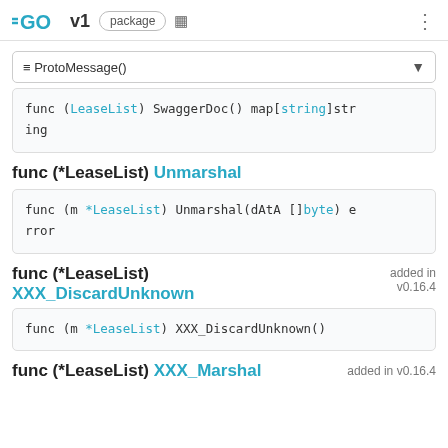GO v1 package
≡ ProtoMessage()
func (LeaseList) SwaggerDoc() map[string]string
func (*LeaseList) Unmarshal
func (m *LeaseList) Unmarshal(dAtA []byte) error
func (*LeaseList) XXX_DiscardUnknown added in v0.16.4
func (m *LeaseList) XXX_DiscardUnknown()
func (*LeaseList) XXX_Marshal added in v0.16.4